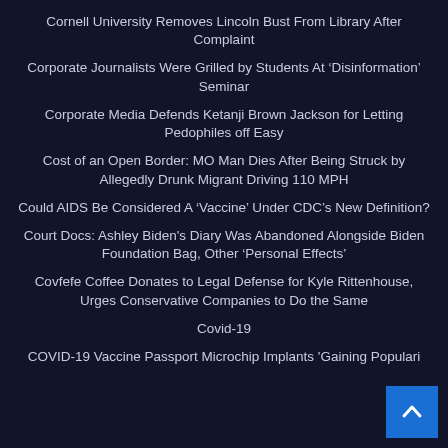Cornell University Removes Lincoln Bust From Library After Complaint
Corporate Journalists Were Grilled by Students At ‘Disinformation’ Seminar
Corporate Media Defends Ketanji Brown Jackson for Letting Pedophiles off Easy
Cost of an Open Border: MO Man Dies After Being Struck by Allegedly Drunk Migrant Driving 110 MPH
Could AIDS Be Considered A ‘Vaccine’ Under CDC’s New Definition?
Court Docs: Ashley Biden's Diary Was Abandoned Alongside Biden Foundation Bag, Other ‘Personal Effects’
Covfefe Coffee Donates to Legal Defense for Kyle Rittenhouse, Urges Conservative Companies to Do the Same
Covid-19
COVID-19 Vaccine Passport Microchip Implants 'Gaining Popularity